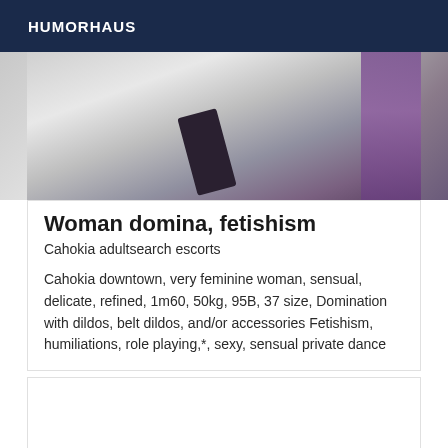HUMORHAUS
[Figure (photo): Partial photo of a person, abstract/cropped, with purple fabric visible on the right side]
Woman domina, fetishism
Cahokia adultsearch escorts
Cahokia downtown, very feminine woman, sensual, delicate, refined, 1m60, 50kg, 95B, 37 size, Domination with dildos, belt dildos, and/or accessories Fetishism, humiliations, role playing,*, sexy, sensual private dance